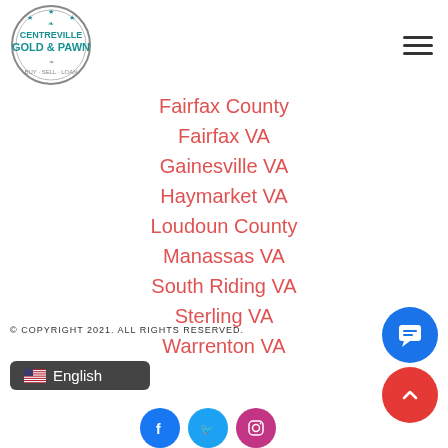[Figure (logo): Centreville Gold & Pawn circular logo with teal text, Buy Sell Loan tagline]
Fairfax County
Fairfax VA
Gainesville VA
Haymarket VA
Loudoun County
Manassas VA
South Riding VA
Sterling VA
Warrenton VA
© COPYRIGHT 2021. ALL RIGHTS RESERVED.
English